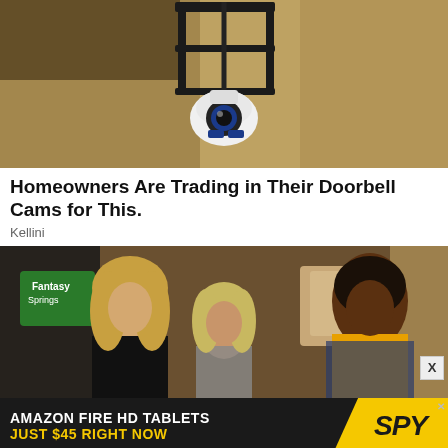[Figure (photo): Security/PTZ camera mounted under a black metal lantern fixture on a textured stucco wall]
Homeowners Are Trading in Their Doorbell Cams for This.
Kellini
[Figure (photo): Three women in a TV show scene: a blonde woman on the left in black, a smaller blonde woman in the center, and a Black woman on the right in a yellow top and denim jacket]
[Figure (other): Advertisement banner: AMAZON FIRE HD TABLETS JUST $45 RIGHT NOW / SPY logo]